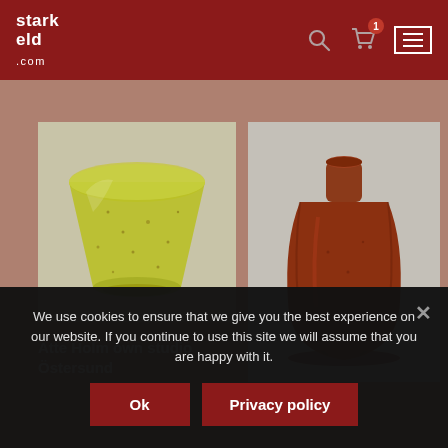stark eld .com — navigation header with search, cart (1), and menu icons
[Figure (photo): Yellow-green speckled ceramic cup on grey background]
[Figure (photo): Brown glazed ceramic bottle vase on grey background]
Atte Holm own studio Östersund
We use cookies to ensure that we give you the best experience on our website. If you continue to use this site we will assume that you are happy with it.